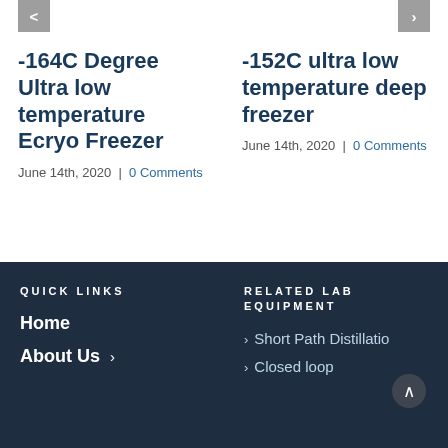-164C Degree Ultra low temperature Ecryo Freezer
June 14th, 2020  |  0 Comments
-152C ultra low temperature deep freezer
June 14th, 2020  |  0 Comments
QUICK LINKS
Home
About Us
RELATED LAB EQUIPMENT
Short Path Distillatio
Closed loop